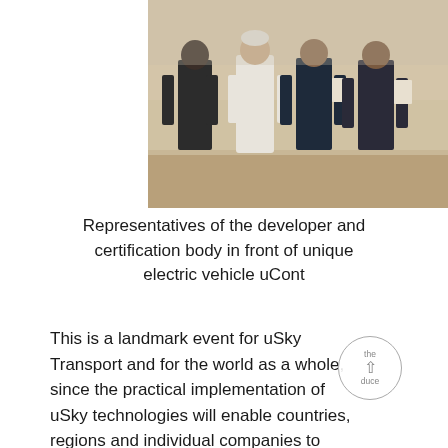[Figure (photo): Four people standing in an outdoor sandy area, holding documents or certificates. One person is wearing a white traditional robe, the others are in dark business suits.]
Representatives of the developer and certification body in front of unique electric vehicle uCont
This is a landmark event for uSky Transport and for the world as a whole, since the practical implementation of uSky technologies will enable countries, regions and individual companies to increase transport and logistics efficiency and safety, improve the economy and ecology, and reduce the carbon footprint.